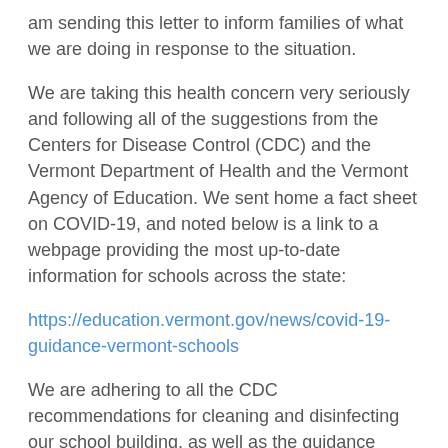am sending this letter to inform families of what we are doing in response to the situation.
We are taking this health concern very seriously and following all of the suggestions from the Centers for Disease Control (CDC) and the Vermont Department of Health and the Vermont Agency of Education. We sent home a fact sheet on COVID-19, and noted below is a link to a webpage providing the most up-to-date information for schools across the state:
https://education.vermont.gov/news/covid-19-guidance-vermont-schools
We are adhering to all the CDC recommendations for cleaning and disinfecting our school building, as well as the guidance being provided for school closings, in the event that this step becomes necessary. One thing we cannot emphasize enough: if your student is sick, especially with a fever, please keep your student at